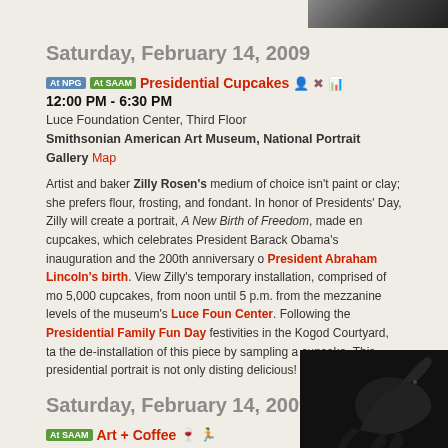Saturday, February 14, 2009
At NPG  At SAAM  Presidential Cupcakes  12:00 PM - 6:30 PM  Luce Foundation Center, Third Floor  Smithsonian American Art Museum, National Portrait Gallery  Map
Artist and baker Zilly Rosen's medium of choice isn't paint or clay; she prefers flour, frosting, and fondant. In honor of Presidents' Day, Zilly will create a portrait, A New Birth of Freedom, made en cupcakes, which celebrates President Barack Obama's inauguration and the 200th anniversary of President Abraham Lincoln's birth. View Zilly's temporary installation, comprised of mo 5,000 cupcakes, from noon until 5 p.m. from the mezzanine levels of the museum's Luce Foundation Center. Following the Presidential Family Fun Day festivities in the Kogod Courtyard, ta the de-installation of this piece by sampling a cupcake. This presidential portrait is not only disting delicious!
Saturday, February 14, 2009
At SAAM  Art + Coffee  1:30 PM - 3:30 PM  Meet in the F Street Lobby  Smithsonian American Art Museum  Map
Join us for a tour or talk at 1:30 in the Luce Foundation Center for American Art and enjoy a complimentary coffee or tea in this elegant space. Beverages served until 3:30 p.m. except during special events.
[Figure (photo): Dark silhouette photo of a horse sculpture or figure against black background]